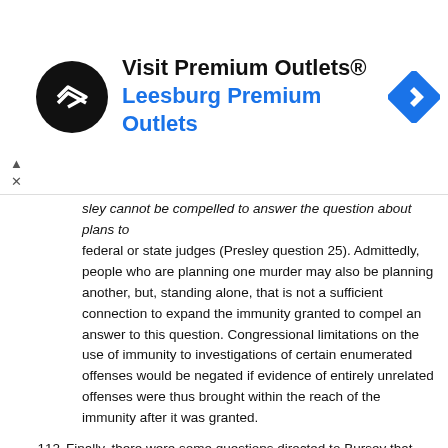[Figure (other): Advertisement banner for Visit Premium Outlets® / Leesburg Premium Outlets with logo and navigation icon]
sley cannot be compelled to answer the question about plans to federal or state judges (Presley question 25). Admittedly, people who are planning one murder may also be planning another, but, standing alone, that is not a sufficient connection to expand the immunity granted to compel an answer to this question. Congressional limitations on the use of immunity to investigations of certain enumerated offenses would be negated if evidence of entirely unrelated offenses were thus brought within the reach of the immunity after it was granted.
112 Finally, there were some questions directed to Bursey that simultaneously concerned the three issues carrying the Hilliard speech and the one issue carrying the Cleaver article (Bursey questions 8-12). The form of questions asked by a grand jury is ordinarily immaterial. Here, however, the multifarious questions covered both immunized and nonimmunized subjects. The error in form should be corrected before the court can compel the answers.